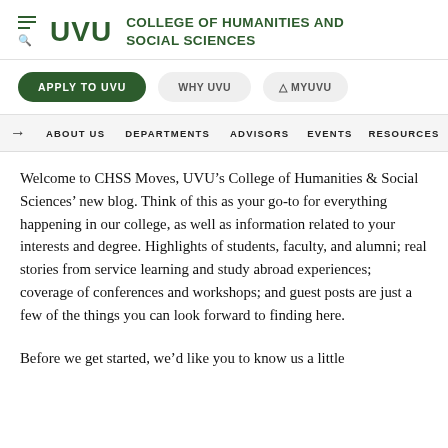UVU COLLEGE OF HUMANITIES AND SOCIAL SCIENCES
APPLY TO UVU   WHY UVU   MYUVU
ABOUT US   DEPARTMENTS   ADVISORS   EVENTS   RESOURCES
Welcome to CHSS Moves, UVU’s College of Humanities & Social Sciences’ new blog. Think of this as your go-to for everything happening in our college, as well as information related to your interests and degree. Highlights of students, faculty, and alumni; real stories from service learning and study abroad experiences; coverage of conferences and workshops; and guest posts are just a few of the things you can look forward to finding here.
Before we get started, we’d like you to know us a little